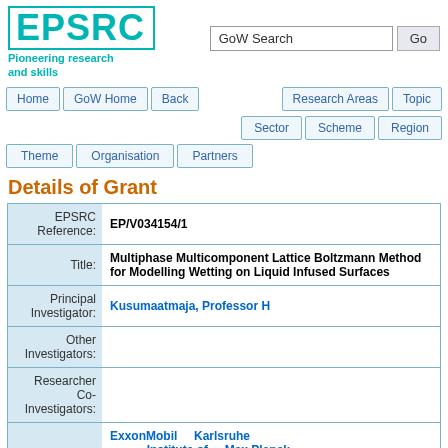[Figure (logo): EPSRC logo with text 'Pioneering research and skills']
GoW Search
Home | GoW Home | Back | Research Areas | Topic | Sector | Scheme | Region | Theme | Organisation | Partners
Details of Grant
| Field | Value |
| --- | --- |
| EPSRC Reference: | EP/V034154/1 |
| Title: | Multiphase Multicomponent Lattice Boltzmann Method for Modelling Wetting on Liquid Infused Surfaces |
| Principal Investigator: | Kusumaatmaja, Professor H |
| Other Investigators: |  |
| Researcher Co-Investigators: |  |
|  | ExxonMobil | Karlsruhe Institute of | Max Planck Institute |